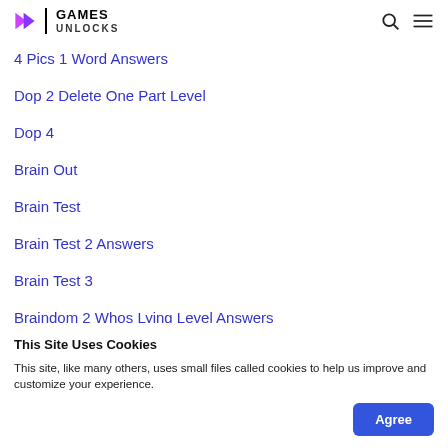GAMES UNLOCKS
4 Pics 1 Word Answers
Dop 2 Delete One Part Level
Dop 4
Brain Out
Brain Test
Brain Test 2 Answers
Brain Test 3
Braindom 2 Whos Lying Level Answers
This Site Uses Cookies
This site, like many others, uses small files called cookies to help us improve and customize your experience.